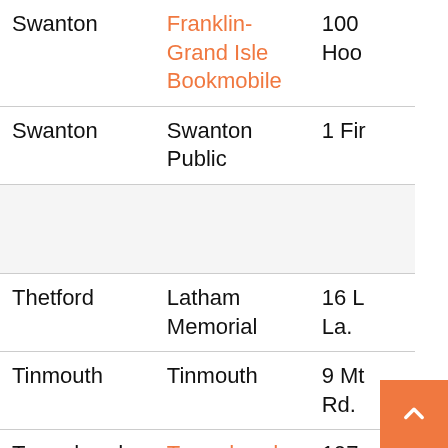| Town | Library | Address |
| --- | --- | --- |
| Swanton | Franklin-Grand Isle Bookmobile | 100... Hoo... |
| Swanton | Swanton Public | 1 Fir... |
|  |  |  |
| Thetford | Latham Memorial | 16 L... La.... |
| Tinmouth | Tinmouth | 9 Mt... Rd.... |
| Townshend | Townshend | 197... |